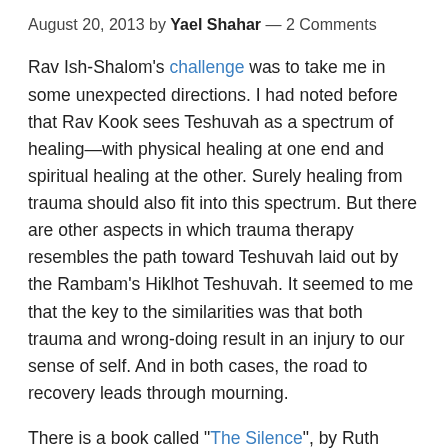August 20, 2013 by Yael Shahar — 2 Comments
Rav Ish-Shalom's challenge was to take me in some unexpected directions. I had noted before that Rav Kook sees Teshuvah as a spectrum of healing—with physical healing at one end and spiritual healing at the other. Surely healing from trauma should also fit into this spectrum. But there are other aspects in which trauma therapy resembles the path toward Teshuvah laid out by the Rambam's Hiklhot Teshuvah. It seemed to me that the key to the similarities was that both trauma and wrong-doing result in an injury to our sense of self. And in both cases, the road to recovery leads through mourning.
There is a book called "The Silence", by Ruth Wajnryb, about the attempts of children of survivors to understand what their parents can't talk about. I had picked it up at a